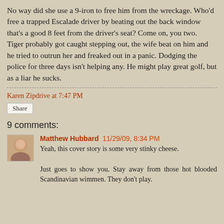No way did she use a 9-iron to free him from the wreckage. Who'd free a trapped Escalade driver by beating out the back window that's a good 8 feet from the driver's seat? Come on, you two.
Tiger probably got caught stepping out, the wife beat on him and he tried to outrun her and freaked out in a panic. Dodging the police for three days isn't helping any. He might play great golf, but as a liar he sucks.
Karen Zipdrive at 7:47 PM
Share
9 comments:
Matthew Hubbard 11/29/09, 8:34 PM
Yeah, this cover story is some very stinky cheese.

Just goes to show you. Stay away from those hot blooded Scandinavian wimmen. They don't play.